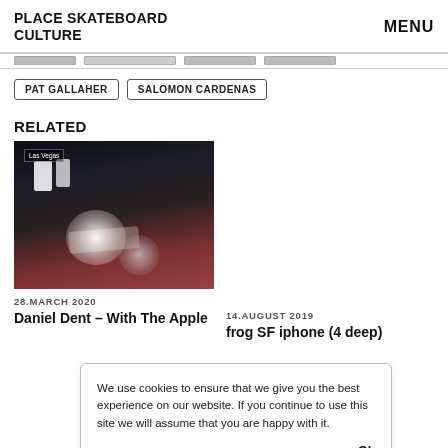PLACE SKATEBOARD CULTURE
MENU
PAT GALLAHER
SALOMON CARDENAS
RELATED
[Figure (photo): Night skateboarding photo, dark scene with lights, person skating with skateboard visible, red rounded shape in foreground]
28.MARCH 2020
Daniel Dent – With The Apple
14.AUGUST 2019
frog SF iphone (4 deep)
We use cookies to ensure that we give you the best experience on our website. If you continue to use this site we will assume that you are happy with it.
Ok